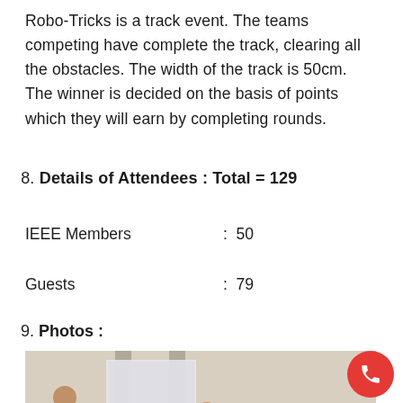Robo-Tricks is a track event. The teams competing have complete the track, clearing all the obstacles. The width of the track is 50cm. The winner is decided on the basis of points which they will earn by completing rounds.
8. Details of Attendees : Total = 129
IEEE Members : 50
Guests : 79
9. Photos :
[Figure (photo): Group of people gathered around what appears to be a robot competition track, some crouching and inspecting, others standing and observing.]